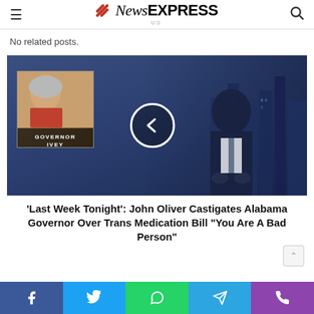NewsEXPRESS
No related posts.
[Figure (screenshot): Video thumbnail showing John Oliver at a late-night desk with a screen showing 'Governor Ivey' with a play button overlay]
'Last Week Tonight': John Oliver Castigates Alabama Governor Over Trans Medication Bill "You Are A Bad Person"